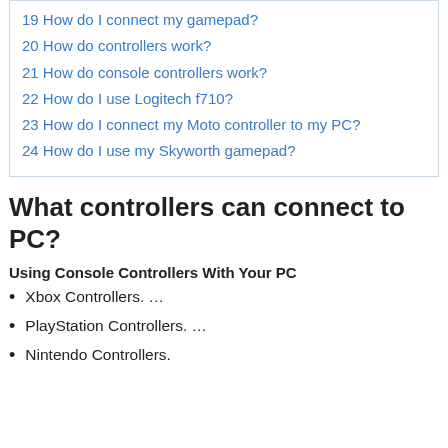19 How do I connect my gamepad?
20 How do controllers work?
21 How do console controllers work?
22 How do I use Logitech f710?
23 How do I connect my Moto controller to my PC?
24 How do I use my Skyworth gamepad?
What controllers can connect to PC?
Using Console Controllers With Your PC
Xbox Controllers. …
PlayStation Controllers. …
Nintendo Controllers.